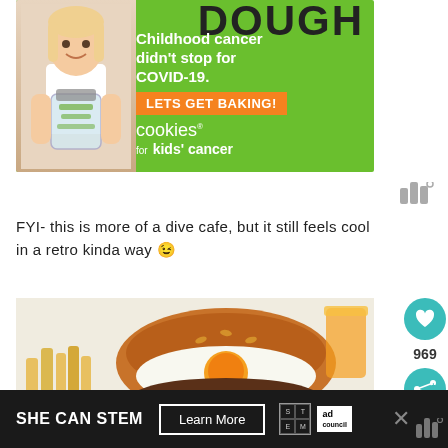[Figure (photo): Advertisement banner for Cookies for Kids Cancer - green background with girl holding a jar of money, text 'Childhood cancer didn't stop for COVID-19. LETS GET BAKING! cookies for kids cancer']
[Figure (logo): WeatherBug icon - three grey bars with degree symbol]
FYI- this is more of a dive cafe, but it still feels cool in a retro kinda way 😉
[Figure (photo): Food photo showing a burger with fried egg on top, french fries on the side, on a white plate]
[Figure (other): Like button (heart icon) with count 969 and share button]
[Figure (other): Bottom advertisement: SHE CAN STEM - Learn More - STEM logo and Ad Council logo, with close X button]